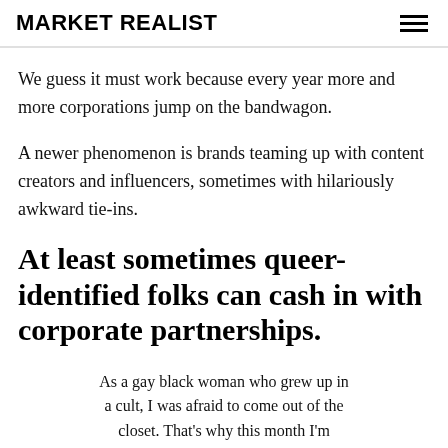MARKET REALIST
We guess it must work because every year more and more corporations jump on the bandwagon.
A newer phenomenon is brands teaming up with content creators and influencers, sometimes with hilariously awkward tie-ins.
At least sometimes queer-identified folks can cash in with corporate partnerships.
As a gay black woman who grew up in a cult, I was afraid to come out of the closet. That's why this month I'm partnering with IKEA to build my